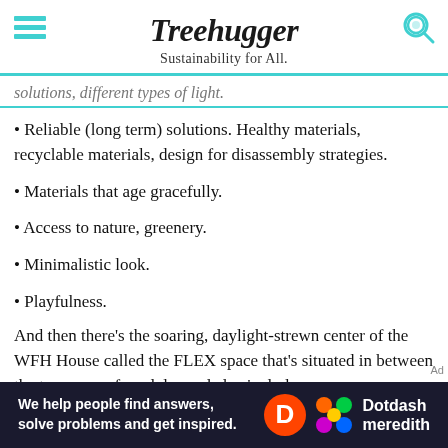Treehugger
Sustainability for All.
solutions, different types of light.
• Reliable (long term) solutions. Healthy materials, recyclable materials, design for disassembly strategies.
• Materials that age gracefully.
• Access to nature, greenery.
• Minimalistic look.
• Playfulness.
And then there's the soaring, daylight-strewn center of the WFH House called the FLEX space that's situated in between the two rows of modules and also includes
[Figure (logo): Dotdash Meredith advertisement banner with text: We help people find answers, solve problems and get inspired.]